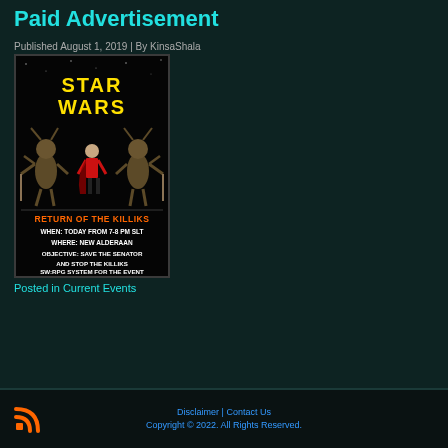Paid Advertisement
Published August 1, 2019 | By KinsaShala
[Figure (illustration): Star Wars themed event advertisement poster with yellow Star Wars logo at top, three characters (a human in red and two insectoid Killiks), and orange text reading RETURN OF THE KILLIKS. Below: WHEN: TODAY FROM 7-8 PM SLT, WHERE: NEW ALDERAAN, OBJECTIVE: SAVE THE SENATOR AND STOP THE KILLIKS, SW:RPG SYSTEM FOR THE EVENT. Dark background.]
Posted in Current Events
Disclaimer | Contact Us
Copyright © 2022. All Rights Reserved.